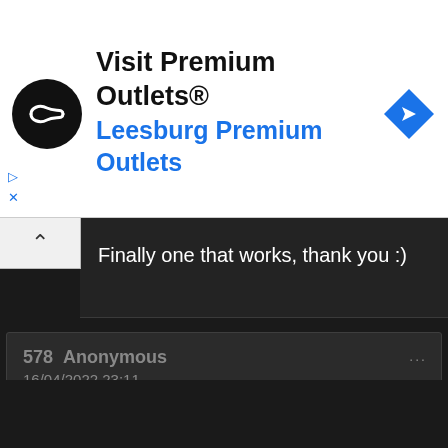[Figure (advertisement): Ad banner for Premium Outlets with logo, text 'Visit Premium Outlets® Leesburg Premium Outlets', and a blue navigation diamond icon]
Finally one that works, thank you :)
578 Anonymous
16/04/2022 23:11
Finally one that works, thank you :)
583 Anonymous
17/04/2022 16:33